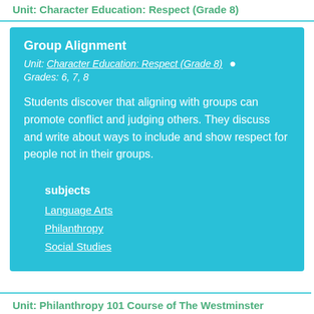Unit: Character Education: Respect (Grade 8)
Group Alignment
Unit: Character Education: Respect (Grade 8)  •  Grades: 6, 7, 8
Students discover that aligning with groups can promote conflict and judging others. They discuss and write about ways to include and show respect for people not in their groups.
subjects
Language Arts
Philanthropy
Social Studies
Unit: Philanthropy 101 Course of The Westminster